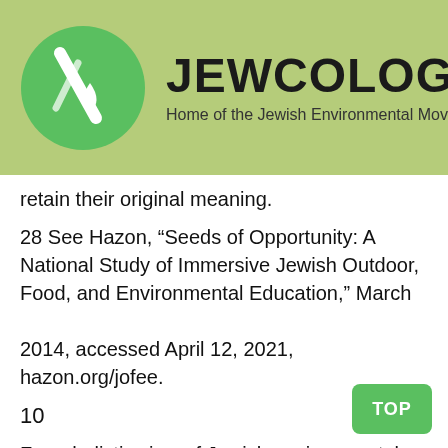[Figure (logo): Jewcology.org logo: green circle with white leaf/water drop icon, bold text JEWCOLOGY.ORG and subtitle Home of the Jewish Environmental Movement on light green background]
retain their original meaning.
28 See Hazon, “Seeds of Opportunity: A National Study of Immersive Jewish Outdoor, Food, and Environmental Education,” March 2014, accessed April 12, 2021, hazon.org/jofee.
10
For a holistic view of Jewish environmental activism and theology in the 1970s and